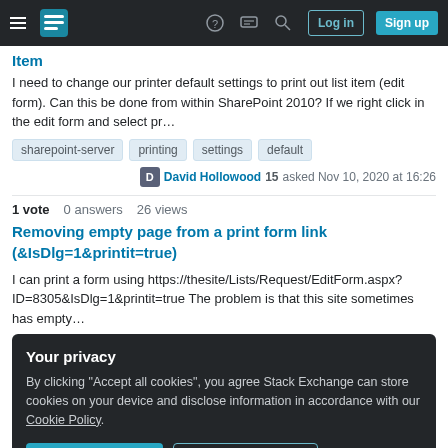Stack Exchange navigation bar with hamburger menu, logo, help, chat, search icons, Log in and Sign up buttons
Item
I need to change our printer default settings to print out list item (edit form). Can this be done from within SharePoint 2010? If we right click in the edit form and select pr...
sharepoint-server  printing  settings  default
David Hollowood 15 asked Nov 10, 2020 at 16:26
1 vote  0 answers  26 views
Removing empty page from a print form link (&IsDlg=1&printit=true)
I can print a form using https://thesite/Lists/Request/EditForm.aspx?ID=8305&IsDlg=1&printit=true The problem is that this site sometimes has empty...
Your privacy
By clicking "Accept all cookies", you agree Stack Exchange can store cookies on your device and disclose information in accordance with our Cookie Policy.
Accept all cookies  Customize settings
My users has unmanaged devices. I want to restrict online access only to Sharepoint